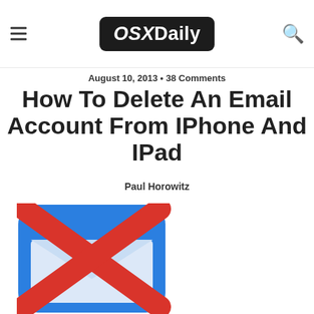OSXDaily
August 10, 2013 • 38 Comments
How To Delete An Email Account From IPhone And IPad
Paul Horowitz
[Figure (illustration): iOS Mail app icon with a red X overlay on a blue rounded square background, showing an envelope shape]